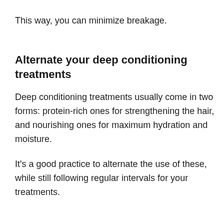This way, you can minimize breakage.
Alternate your deep conditioning treatments
Deep conditioning treatments usually come in two forms: protein-rich ones for strengthening the hair, and nourishing ones for maximum hydration and moisture.
It's a good practice to alternate the use of these, while still following regular intervals for your treatments.